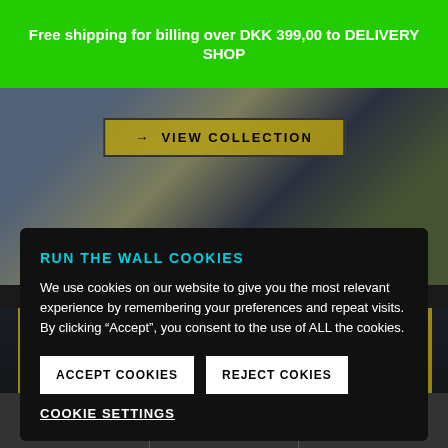Free shipping for billing over DKK 399,00 to DELIVERY SHOP
[Figure (screenshot): Background grunge/urban texture image with 'VIEW COLLECTION' button overlay]
RUN THE WALL COOKIES
We use cookies on our website to give you the most relevant experience by remembering your preferences and repeat visits. By clicking “Accept”, you consent to the use of ALL the cookies.
ACCEPT COOKIES
REJECT COKIES
COOKIE SETTINGS
[Figure (screenshot): Bottom grunge texture with yellow/black striped pattern]
Navigation bar with user account icon, search icon, and cart icon with badge 0